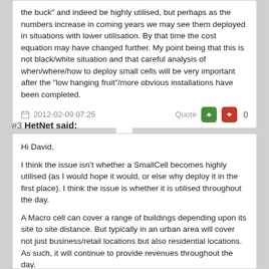the buck" and indeed be highly utilised, but perhaps as the numbers increase in coming years we may see them deployed in situations with lower utilisation. By that time the cost equation may have changed further. My point being that this is not black/white situation and that careful analysis of when/where/how to deploy small cells will be very important after the "low hanging fruit"/more obvious installations have been completed.
2012-02-09 07:25   Quote   0
#3 HetNet said:
Hi David,

I think the issue isn't whether a SmallCell becomes highly utilised (as I would hope it would, or else why deploy it in the first place). I think the issue is whether it is utilised throughout the day.

A Macro cell can cover a range of buildings depending upon its site to site distance. But typically in an urban area will cover not just business/retail locations but also residential locations. As such, it will continue to provide revenues throughout the day.

A small cell is deployed on a targetted approach. You deploy a small cell in a specific location to catch a specific set of traffic. In all likelihood the specific traffic is not continually generated 24hours a day (although we can all come up with some suggested locations that could do this). Put it in a shopping mall for instance and you get traffic during shop opening times only.

Moving away from the utilisation discussion. Your